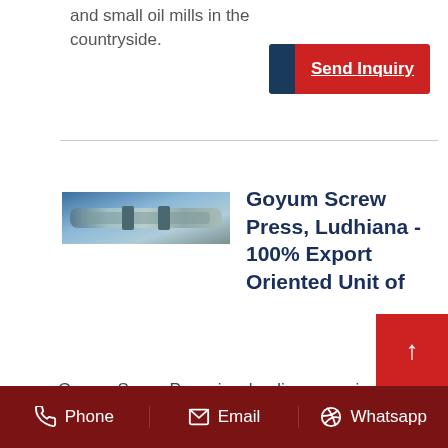and small oil mills in the countryside.
[Figure (screenshot): Send Inquiry button with blue and red blocks]
[Figure (photo): Industrial oil press machine photo]
Goyum Screw Press, Ludhiana - 100% Export Oriented Unit of
Goyum Screw Press is a leading name in manufacturing and exporting wide range of Oil Mill Machine and Material Handling Equipment on a widespread range. Our products are already running successf[ully across] 45 Countries worldwide.
Phone   Email   Whatsapp